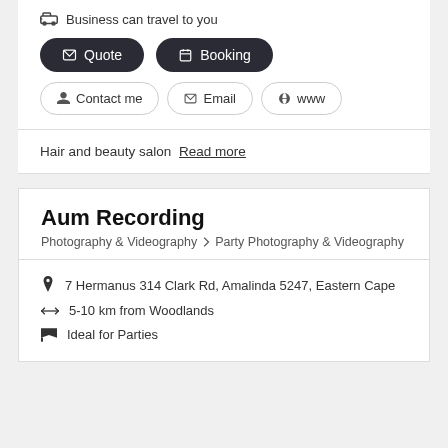Business can travel to you
Quote  Booking
Contact me  Email  www
Hair and beauty salon  Read more
Aum Recording
Photography & Videography > Party Photography & Videography
7 Hermanus 314 Clark Rd, Amalinda 5247, Eastern Cape
5-10 km from Woodlands
Ideal for Parties